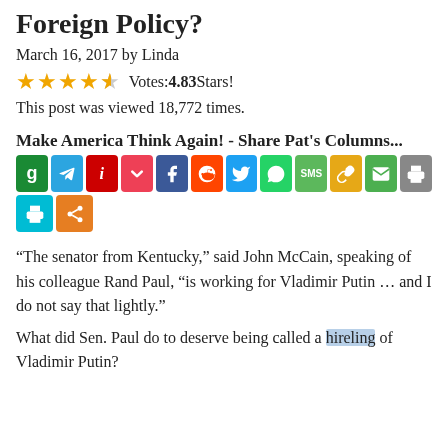Foreign Policy?
March 16, 2017 by Linda
★★★★☆ Votes: 4.83 Stars!
This post was viewed 18,772 times.
Make America Think Again! - Share Pat's Columns...
[Figure (infographic): Row of social media share icon buttons: Gettr (green), Telegram (blue), Instapaper (red), Pocket (red), Facebook (blue), Reddit (orange-red), Twitter (blue), WhatsApp (green), SMS (green), Copy link (yellow), Email (green), Print (gray), Print (teal), Share (orange)]
“The senator from Kentucky,” said John McCain, speaking of his colleague Rand Paul, “is working for Vladimir Putin … and I do not say that lightly.”
What did Sen. Paul do to deserve being called a hireling of Vladimir Putin?